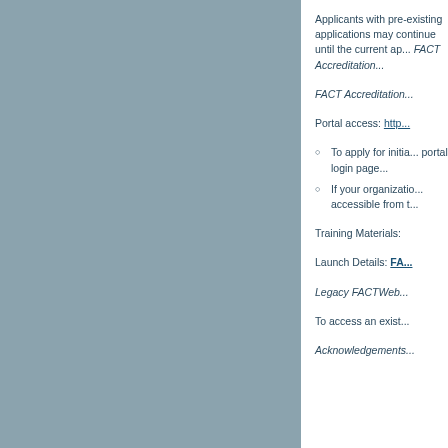[Figure (other): Gray panel occupying the left portion of the page]
Applicants with pre-existing applications may continue until the current ap... FACT Accreditation...
FACT Accreditation...
Portal access: http...
To apply for initial... portal login page...
If your organization... accessible from t...
Training Materials:
Launch Details: FA...
Legacy FACTWeb...
To access an exist...
Acknowledgements...